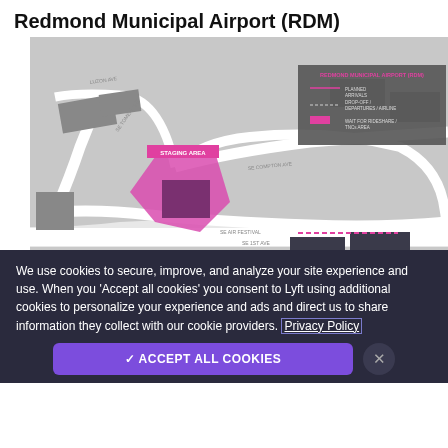Redmond Municipal Airport (RDM)
[Figure (map): Airport map of Redmond Municipal Airport (RDM) showing staging area highlighted in pink/magenta, roads, buildings, and a legend with parking arrivals, drop-off/departures, and wait for rideshare indicators.]
We use cookies to secure, improve, and analyze your site experience and use. When you 'Accept all cookies' you consent to Lyft using additional cookies to personalize your experience and ads and direct us to share information they collect with our cookie providers. Privacy Policy
✓ ACCEPT ALL COOKIES